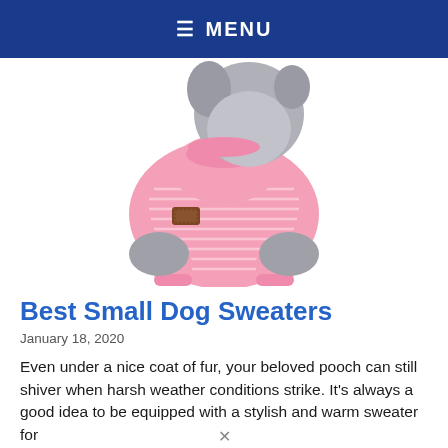≡ MENU
[Figure (photo): A small fluffy grey dog wearing a pink knit sweater with a brown leather patch on the sleeve, photographed from the side against a white background.]
Best Small Dog Sweaters
January 18, 2020
Even under a nice coat of fur, your beloved pooch can still shiver when harsh weather conditions strike. It's always a good idea to be equipped with a stylish and warm sweater for